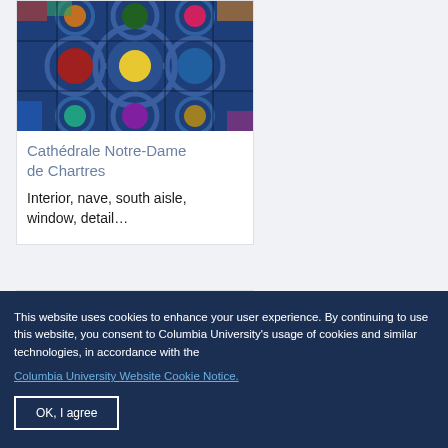[Figure (photo): Stained glass window detail from interior nave south aisle of Cathédrale Notre-Dame de Chartres — colorful circular medallion patterns in blue, red, green, yellow on dark blue background]
Cathédrale Notre-Dame de Chartres
Interior, nave, south aisle, window, detail…
[Figure (photo): Partial view of another stained glass window detail on dark/black background, crescent-shaped colorful fragment visible]
This website uses cookies to enhance your user experience. By continuing to use this website, you consent to Columbia University's usage of cookies and similar technologies, in accordance with the
Columbia University Website Cookie Notice.
OK, I agree